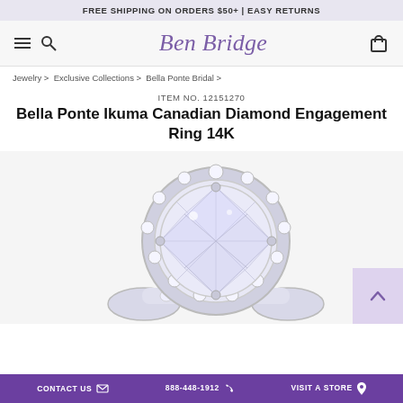FREE SHIPPING ON ORDERS $50+ | EASY RETURNS
[Figure (logo): Ben Bridge jeweler logo in purple italic script font, with hamburger menu and search icons on left, shopping bag icon on right]
Jewelry > Exclusive Collections > Bella Ponte Bridal >
ITEM NO. 12151270
Bella Ponte Ikuma Canadian Diamond Engagement Ring 14K
[Figure (photo): Close-up photo of a diamond engagement ring with a large round center stone surrounded by a diamond halo and pavé diamond band, set in white gold/platinum. A lavender scroll-to-top button is visible at the bottom right.]
CONTACT US | 888-448-1912 | VISIT A STORE